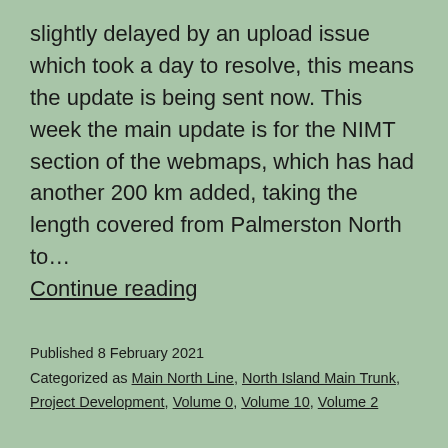slightly delayed by an upload issue which took a day to resolve, this means the update is being sent now. This week the main update is for the NIMT section of the webmaps, which has had another 200 km added, taking the length covered from Palmerston North to… Continue reading
Published 8 February 2021
Categorized as Main North Line, North Island Main Trunk, Project Development, Volume 0, Volume 10, Volume 2